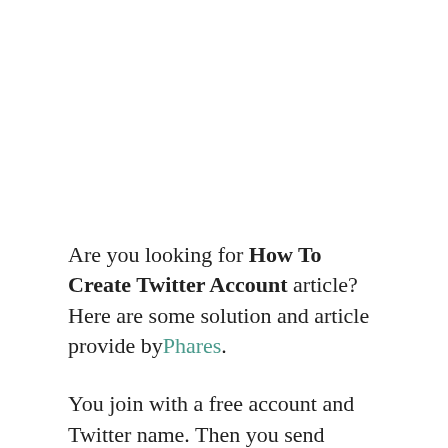Are you looking for How To Create Twitter Account article? Here are some solution and article provide byPhares.
You join with a free account and Twitter name. Then you send broadcasts (tweets) daily, hourly, or as frequently as you like. Go to the What's Happening box next to your profile image, type 280 or fewer characters, and click Tweet. People